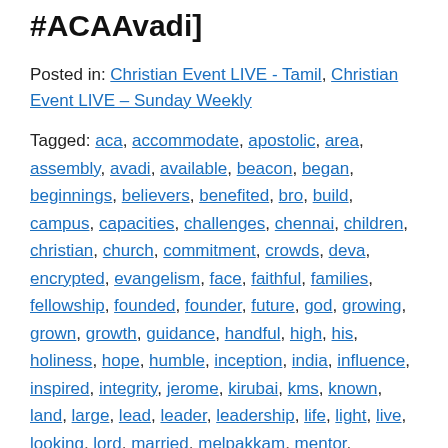#ACAAvadi]
Posted in: Christian Event LIVE - Tamil, Christian Event LIVE – Sunday Weekly
Tagged: aca, accommodate, apostolic, area, assembly, avadi, available, beacon, began, beginnings, believers, benefited, bro, build, campus, capacities, challenges, chennai, children, christian, church, commitment, crowds, deva, encrypted, evangelism, face, faithful, families, fellowship, founded, founder, future, god, growing, grown, growth, guidance, handful, high, his, holiness, hope, humble, inception, india, influence, inspired, integrity, jerome, kirubai, kms, known, land, large, lead, leader, leadership, life, light, live, looking, lord, married, melpakkam, mentor, ministries, ministry, nadu, nourishment, outskirts, part, passion, pastor, people, picture, piece, poonamalee, prakasam, prayer, prayerful, preacher, present, purchased, raise, raised, renowned